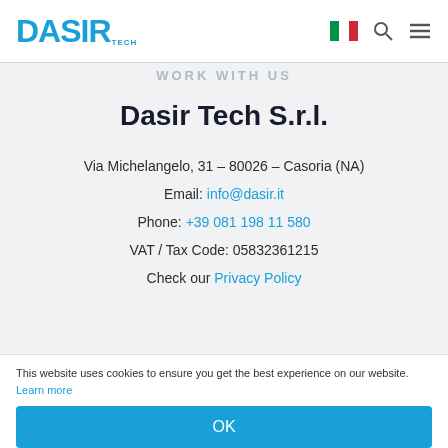DASIR Tech — logo and navigation header
WORK WITH US
Dasir Tech S.r.l.
Via Michelangelo, 31 – 80026 – Casoria (NA)
Email: info@dasir.it
Phone: +39 081 198 11 580
VAT / Tax Code: 05832361215
Check our Privacy Policy
This website uses cookies to ensure you get the best experience on our website. Learn more
OK